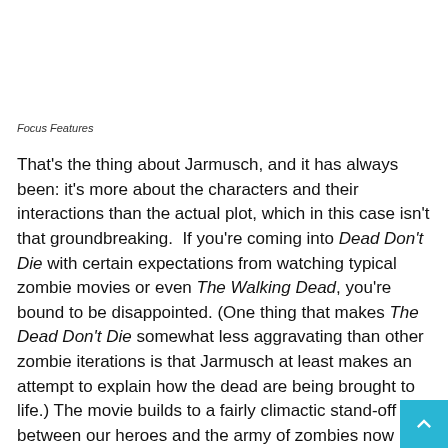Focus Features
That's the thing about Jarmusch, and it has always been: it's more about the characters and their interactions than the actual plot, which in this case isn't that groundbreaking.  If you're coming into Dead Don't Die with certain expectations from watching typical zombie movies or even The Walking Dead, you're bound to be disappointed. (One thing that makes The Dead Don't Die somewhat less aggravating than other zombie iterations is that Jarmusch at least makes an attempt to explain how the dead are being brought to life.) The movie builds to a fairly climactic stand-off between our heroes and the army of zombies now inhabiting Centreville,